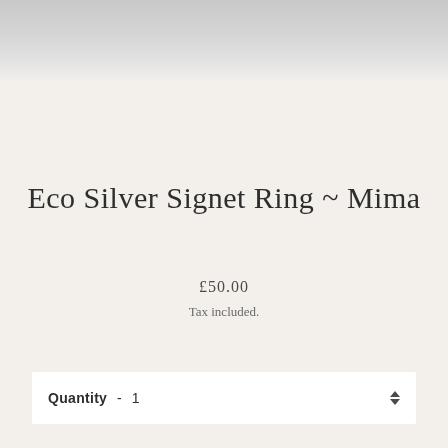[Figure (photo): Stone texture background banner at the top of the page]
Eco Silver Signet Ring ~ Mima
£50.00
Tax included.
Quantity  •  1
ADD TO CART